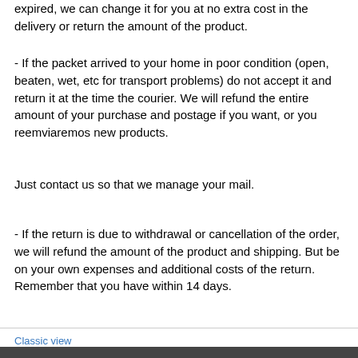expired, we can change it for you at no extra cost in the delivery or return the amount of the product.
- If the packet arrived to your home in poor condition (open, beaten, wet, etc for transport problems) do not accept it and return it at the time the courier. We will refund the entire amount of your purchase and postage if you want, or you reemviaremos new products.
Just contact us so that we manage your mail.
- If the return is due to withdrawal or cancellation of the order, we will refund the amount of the product and shipping. But be on your own expenses and additional costs of the return. Remember that you have within 14 days.
Classic view